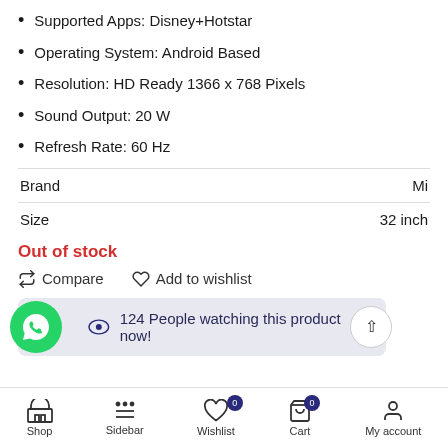Supported Apps: Disney+Hotstar
Operating System: Android Based
Resolution: HD Ready 1366 x 768 Pixels
Sound Output: 20 W
Refresh Rate: 60 Hz
|  |  |
| --- | --- |
| Brand | Mi |
| Size | 32 inch |
Out of stock
Compare   Add to wishlist
124 People watching this product now!
Shop   Sidebar   Wishlist 0   Cart 0   My account